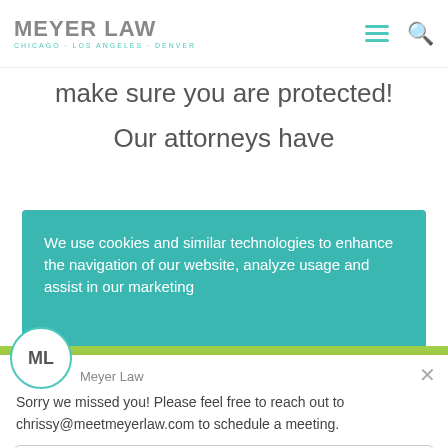MEYER LAW — CHICAGO · LOS ANGELES · DENVER
make sure you are protected!
Our attorneys have
We use cookies and similar technologies to enhance the navigation of our website, analyze usage and assist in our marketing
Meyer Law
Sorry we missed you! Please feel free to reach out to chrissy@meetmeyerlaw.com to schedule a meeting.
Reply to Meyer Law
Chat ⚡ by Drift